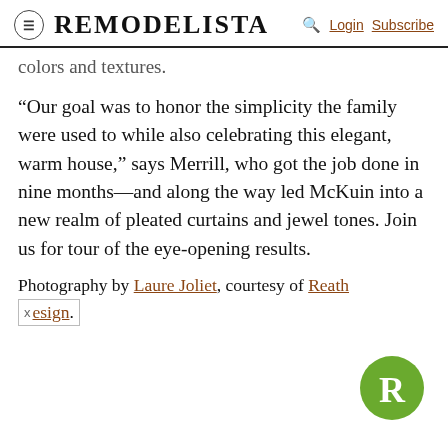REMODELISTA — Login Subscribe
colors and textures.
“Our goal was to honor the simplicity the family were used to while also celebrating this elegant, warm house,” says Merrill, who got the job done in nine months—and along the way led McKuin into a new realm of pleated curtains and jewel tones. Join us for tour of the eye-opening results.
Photography by Laure Joliet, courtesy of Reath Design.
[Figure (logo): Remodelista R logo, green circle with white R]